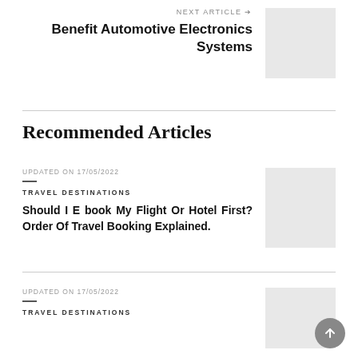NEXT ARTICLE →
Benefit Automotive Electronics Systems
[Figure (photo): Gray placeholder image for next article thumbnail]
Recommended Articles
UPDATED ON 17/05/2022
TRAVEL DESTINATIONS
Should I E book My Flight Or Hotel First? Order Of Travel Booking Explained.
[Figure (photo): Gray placeholder image for article thumbnail]
UPDATED ON 17/05/2022
TRAVEL DESTINATIONS